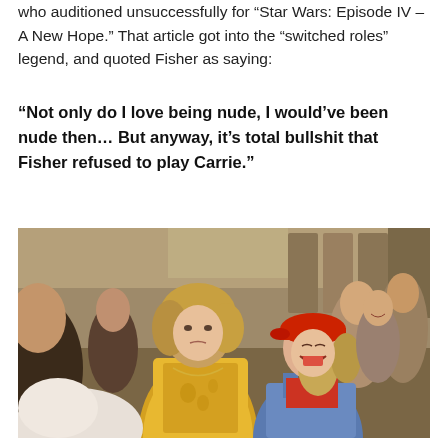who auditioned unsuccessfully for “Star Wars: Episode IV – A New Hope.” That article got into the “switched roles” legend, and quoted Fisher as saying:
“Not only do I love being nude, I would’ve been nude then… But anyway, it’s total bullshit that Fisher refused to play Carrie.”
[Figure (photo): A vintage film still showing a group of young women in a locker room scene. In the foreground, a woman in a yellow tank top looks downward with a somewhat sad or uncertain expression. To her right, a woman wearing a red cap and denim overalls laughs openly. Several other women are visible in the background, smiling and laughing.]